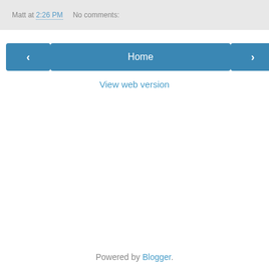Matt at 2:26 PM    No comments:
< Home >
View web version
Powered by Blogger.